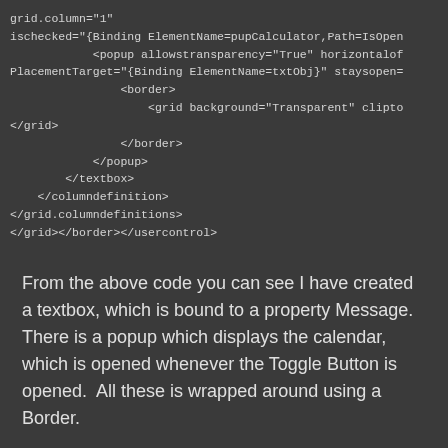grid.column="1"
ischecked="{Binding ElementName=pupCalculator,Path=IsOpen
            <popup allowstransparency="True" horizontalof
PlacementTarget="{Binding ElementName=txtObj}" staysopen=
                <border>
                    <grid background="Transparent" clipto
</grid>
                </border>
            </popup>
        </textbox>
    </columndefinition>
</grid.columndefinitions>
</grid></border></usercontrol>
From the above code you can see I have created a textbox, which is bound to a property Message. There is a popup which displays the calendar, which is opened whenever the Toggle Button is opened.  All these is wrapped around using a Border.
In the code Behind I have created a Dependancy property MessageProperty and associated with my control txtCalc. A wrapper property is also created which allows you to call the property whenever Source value is modified. The code page